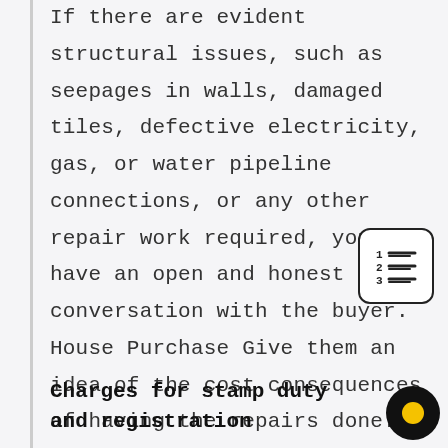If there are evident structural issues, such as seepages in walls, damaged tiles, defective electricity, gas, or water pipeline connections, or any other repair work required, you must have an open and honest conversation with the buyer. House Purchase Give them an idea of the cost consequences of having the repairs done. If you take on any obligation in order to sell your house. Be sure you keep your commitments and only pass on the expenditures that have been agreed upon.
[Figure (other): Table of contents / numbered list icon: a small rounded rectangle with numbers 1, 2, 3 and horizontal lines next to each number]
Charges for stamp duty and registration
[Figure (other): Round chat/messenger icon: black circle with a yellow inner circle]